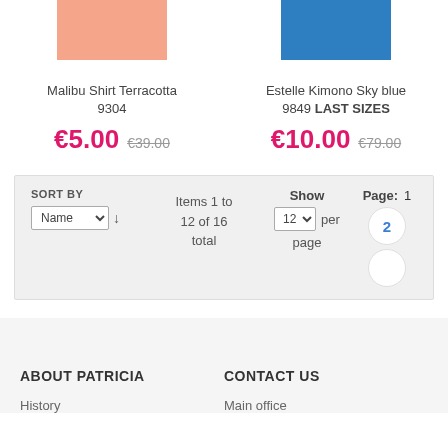[Figure (photo): Partial view of salmon/terracotta colored shirt product image (top cropped)]
[Figure (photo): Partial view of sky blue kimono product image (top cropped)]
Malibu Shirt Terracotta 9304
Estelle Kimono Sky blue 9849 LAST SIZES
€5.00  €39.00
€10.00  €79.00
SORT BY  Items 1 to 12 of 16 total  Show  12  per page  Page:  1  2
ABOUT PATRICIA
CONTACT US
History
Main office